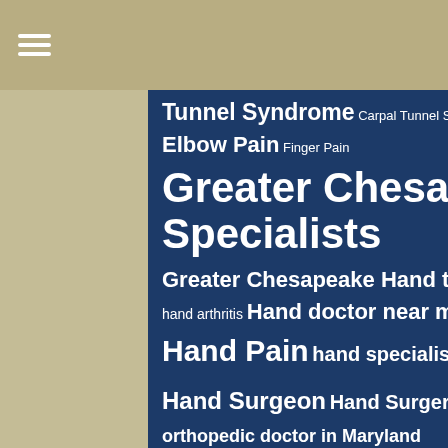≡ (navigation menu icon)
Tunnel Syndrome Carpal Tunnel Syndrome treatment near me elbow injury elbow injury treatment Elbow Pain Finger Pain Greater Chesapeake Hand Specialists Greater Chesapeake Hand to Shoulder hand arthritis Hand doctor near me hand injury Hand Pain hand specialist Hand Surgeon Hand Surgery Joint Care Joint Pain orthopedic doctor orthopedic doctor in Maryland orthopedic doctor near me orthopedic medicine